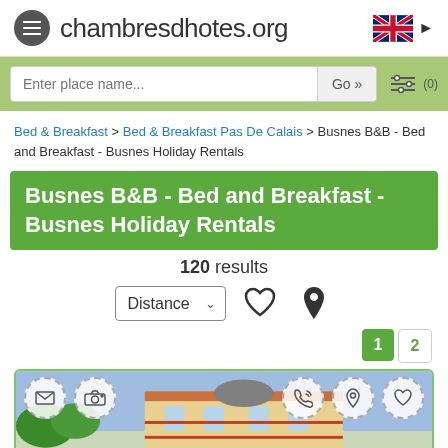chambresdhotes.org
Enter place name...  Go »  (0)
Bed & Breakfast > Bed & Breakfast Pas De Calais > Busnes B&B - Bed and Breakfast - Busnes Holiday Rentals
Busnes B&B - Bed and Breakfast - Busnes Holiday Rentals
120 results
Distance
[Figure (screenshot): Listing card showing a building photo with overlay icons for email, camera, phone, location, and heart/favorites]